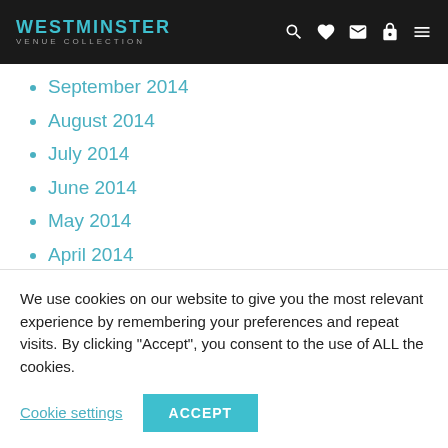WESTMINSTER VENUE COLLECTION
September 2014
August 2014
July 2014
June 2014
May 2014
April 2014
March 2014
February 2014
January 2014
We use cookies on our website to give you the most relevant experience by remembering your preferences and repeat visits. By clicking “Accept”, you consent to the use of ALL the cookies.
Cookie settings  ACCEPT